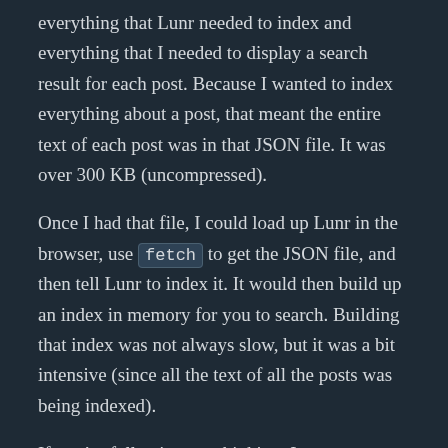everything that Lunr needed to index and everything that I needed to display a search result for each post. Because I wanted to index everything about a post, that meant the entire text of each post was in that JSON file. It was over 300 KB (uncompressed).
Once I had that file, I could load up Lunr in the browser, use fetch to get the JSON file, and then tell Lunr to index it. It would then build up an index in memory for you to search. Building that index was not always slow, but it was a bit intensive (since all the text of all the posts was being indexed).
If you’re following my thinking, I see two problems:
The JSON file is huge and has to be loaded with every search.
Lunr had to do a lot of work to generate the index with